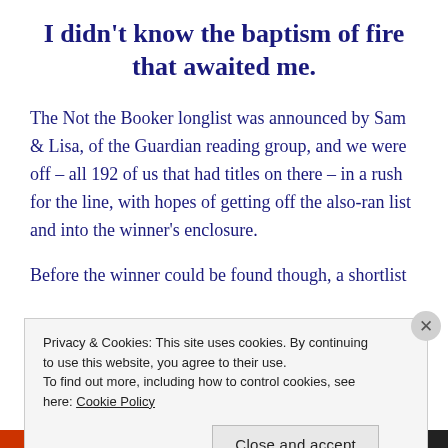I didn't know the baptism of fire that awaited me.
The Not the Booker longlist was announced by Sam & Lisa, of the Guardian reading group, and we were off – all 192 of us that had titles on there – in a rush for the line, with hopes of getting off the also-ran list and into the winner's enclosure.
Before the winner could be found though, a shortlist
Privacy & Cookies: This site uses cookies. By continuing to use this website, you agree to their use.
To find out more, including how to control cookies, see here: Cookie Policy
Close and accept